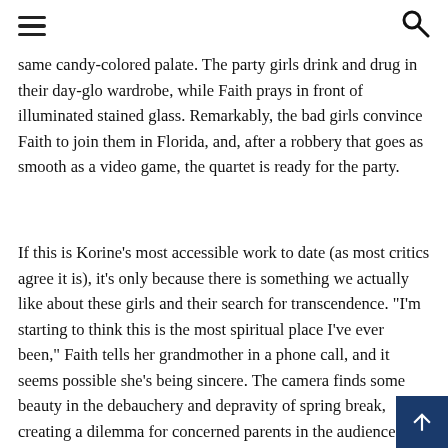[hamburger menu] [search icon]
same candy-colored palate. The party girls drink and drug in their day-glo wardrobe, while Faith prays in front of illuminated stained glass. Remarkably, the bad girls convince Faith to join them in Florida, and, after a robbery that goes as smooth as a video game, the quartet is ready for the party.
If this is Korine’s most accessible work to date (as most critics agree it is), it’s only because there is something we actually like about these girls and their search for transcendence. “I’m starting to think this is the most spiritual place I've ever been,” Faith tells her grandmother in a phone call, and it seems possible she’s being sincere. The camera finds some beauty in the debauchery and depravity of spring break, creating a dilemma for concerned parents in the audience. Are we rooting for these girls to enjoy the party or be struck down with the consequences of their actions